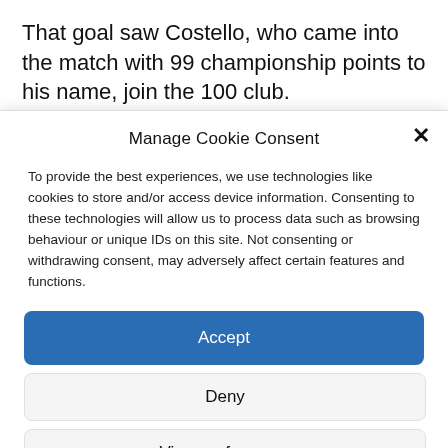That goal saw Costello, who came into the match with 99 championship points to his name, join the 100 club.
Manage Cookie Consent
To provide the best experiences, we use technologies like cookies to store and/or access device information. Consenting to these technologies will allow us to process data such as browsing behaviour or unique IDs on this site. Not consenting or withdrawing consent, may adversely affect certain features and functions.
Accept
Deny
View preferences
Cookie Policy   Privacy Policy